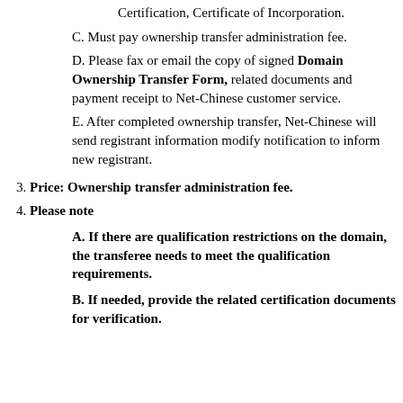Certification, Certificate of Incorporation.
C. Must pay ownership transfer administration fee.
D. Please fax or email the copy of signed Domain Ownership Transfer Form, related documents and payment receipt to Net-Chinese customer service.
E. After completed ownership transfer, Net-Chinese will send registrant information modify notification to inform new registrant.
3. Price: Ownership transfer administration fee.
4. Please note
A. If there are qualification restrictions on the domain, the transferee needs to meet the qualification requirements.
B. If needed, provide the related certification documents for verification.